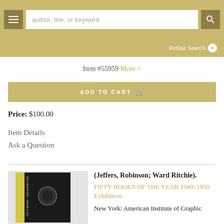author, title, or keyword [search bar]
Refine Search
Item #55959 More >
ADD TO CART
Price: $100.00
Item Details
Ask a Question
[Figure (photo): Photo of a book with black cover and yellow spine, featuring a circular emblem/badge on the front]
(Jeffers, Robinson; Ward Ritchie). FIFTY BOOKS OF THE YEAR 1949: 1950 Exhibition. New York: American Institute of Graphic